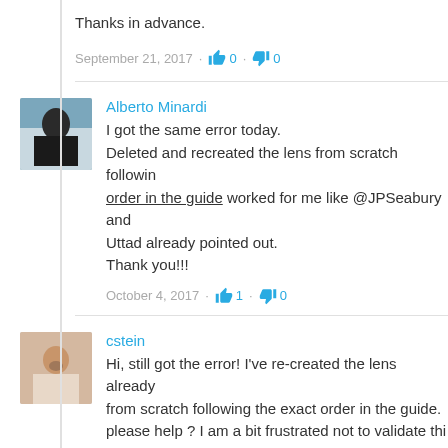Thanks in advance.
September 21, 2017 · 👍 0 · 👎 0
Alberto Minardi
I got the same error today.
Deleted and recreated the lens from scratch following order in the guide worked for me like @JPSeabury and Uttad already pointed out.
Thank you!!!
October 4, 2017 · 👍 1 · 👎 0
cstein
Hi, still got the error! I've re-created the lens already from scratch following the exact order in the guide. please help ? I am a bit frustrated not to validate thi
Thanks in advance.